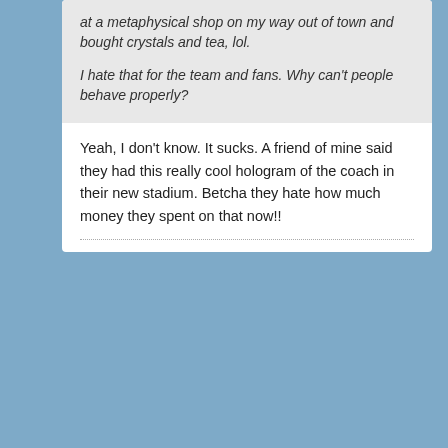at a metaphysical shop on my way out of town and bought crystals and tea, lol.
I hate that for the team and fans. Why can't people behave properly?
Yeah, I don't know. It sucks. A friend of mine said they had this really cool hologram of the coach in their new stadium. Betcha they hate how much money they spent on that now!!
[Figure (photo): Profile photo of forum user Falcon Horus, a woman with long hair]
Falcon Horus
Air Force Chief of Staff
Member Since: May 2004    Posts: 36468